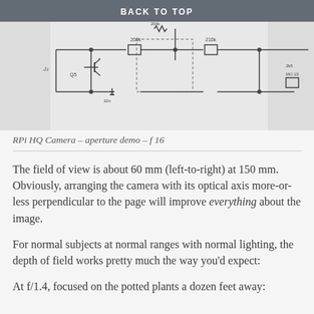BACK TO TOP
[Figure (engineering-diagram): Electronic circuit schematic diagram showing resistors, capacitors, and wiring connections on a printed circuit board layout]
RPi HQ Camera – aperture demo – f 16
The field of view is about 60 mm (left-to-right) at 150 mm. Obviously, arranging the camera with its optical axis more-or-less perpendicular to the page will improve everything about the image.
For normal subjects at normal ranges with normal lighting, the depth of field works pretty much the way you'd expect:
At f/1.4, focused on the potted plants a dozen feet away: